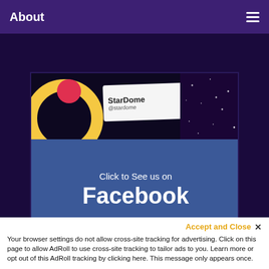About
[Figure (screenshot): Facebook promotional banner for StarDome showing a blue Facebook button area with text 'Click to See us on Facebook', with StarDome logo elements (yellow ring, pink arc) visible at the top on a dark starry background.]
Accept and Close ×
Your browser settings do not allow cross-site tracking for advertising. Click on this page to allow AdRoll to use cross-site tracking to tailor ads to you. Learn more or opt out of this AdRoll tracking by clicking here. This message only appears once.